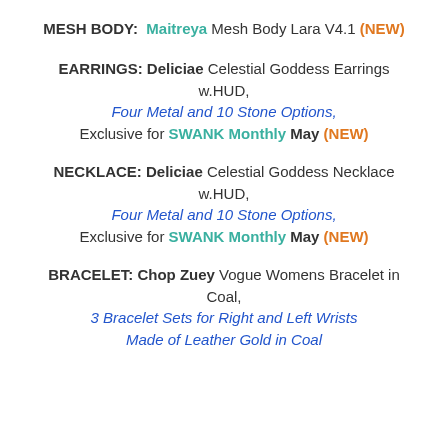MESH BODY: Maitreya Mesh Body Lara V4.1 (NEW)
EARRINGS: Deliciae Celestial Goddess Earrings w.HUD, Four Metal and 10 Stone Options, Exclusive for SWANK Monthly May (NEW)
NECKLACE: Deliciae Celestial Goddess Necklace w.HUD, Four Metal and 10 Stone Options, Exclusive for SWANK Monthly May (NEW)
BRACELET: Chop Zuey Vogue Womens Bracelet in Coal, 3 Bracelet Sets for Right and Left Wrists Made of Leather Gold in Coal